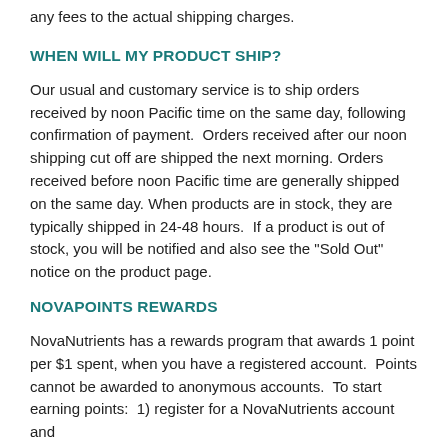any fees to the actual shipping charges.
WHEN WILL MY PRODUCT SHIP?
Our usual and customary service is to ship orders received by noon Pacific time on the same day, following confirmation of payment.  Orders received after our noon shipping cut off are shipped the next morning. Orders received before noon Pacific time are generally shipped on the same day. When products are in stock, they are typically shipped in 24-48 hours.  If a product is out of stock, you will be notified and also see the "Sold Out" notice on the product page.
NOVAPOINTS REWARDS
NovaNutrients has a rewards program that awards 1 point per $1 spent, when you have a registered account.  Points cannot be awarded to anonymous accounts.  To start earning points:  1) register for a NovaNutrients account and